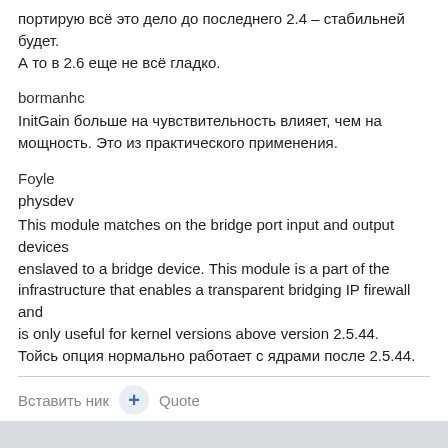портирую всё это дело до последнего 2.4 - стабильней будет. А то в 2.6 еще не всё гладко.
bormanhc
InitGain больше на чувствительность влияет, чем на мощность. Это из практического применения.
Foyle
physdev
This module matches on the bridge port input and output devices enslaved to a bridge device. This module is a part of the infrastructure that enables a transparent bridging IP firewall and is only useful for kernel versions above version 2.5.44.
Тойсь опция нормально работает с ядрами после 2.5.44.
Вставить ник   +   Quote
barabashka.yury
Posted October 12, 2006